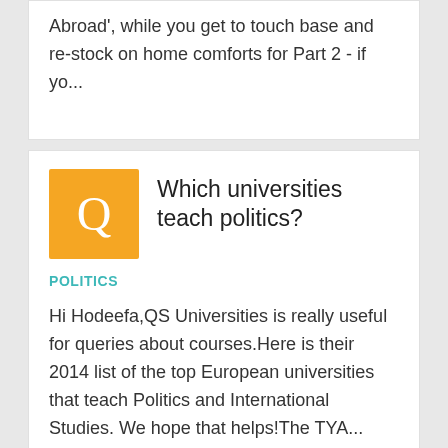Abroad', while you get to touch base and re-stock on home comforts for Part 2 - if yo...
Which universities teach politics?
POLITICS
Hi Hodeefa,QS Universities is really useful for queries about courses.Here is their 2014 list of the top European universities that teach Politics and International Studies. We hope that helps!The TYA...